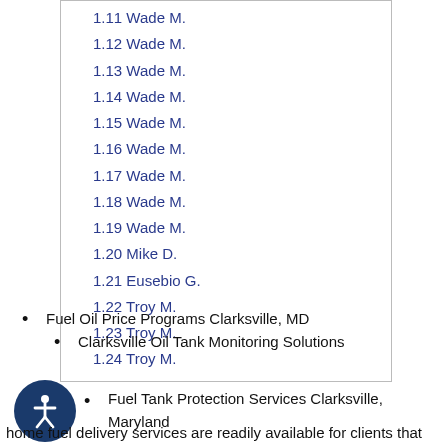1.11 Wade M.
1.12 Wade M.
1.13 Wade M.
1.14 Wade M.
1.15 Wade M.
1.16 Wade M.
1.17 Wade M.
1.18 Wade M.
1.19 Wade M.
1.20 Mike D.
1.21 Eusebio G.
1.22 Troy M.
1.23 Troy M.
1.24 Troy M.
Fuel Oil Price Programs Clarksville, MD
Clarksville Oil Tank Monitoring Solutions
Fuel Tank Protection Services Clarksville, Maryland
home fuel delivery services are readily available for clients that have furnaces, boilers, and homes with oil hot